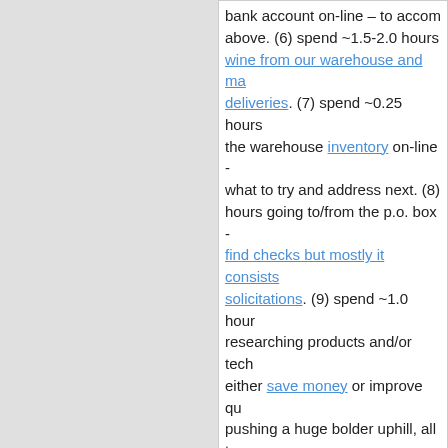bank account on-line – to accom above. (6) spend ~1.5-2.0 hours wine from our warehouse and ma deliveries. (7) spend ~0.25 hours the warehouse inventory on-line - what to try and address next. (8) hours going to/from the p.o. box - find checks but mostly it consists solicitations. (9) spend ~1.0 hour researching products and/or tech either save money or improve qu pushing a huge bolder uphill, all t
Route   Quick Link   Lighting   Searc
Jim Moore is the co-owner of Uvaggio W and a terrific winemaker whose wines alw age-ability. His focus today is primarily Ve 'food wines' o older red win Sangiovese,
[Figure (illustration): Wine bottle label showing a horse silhouette under stars and a moon on dark blue background, with Italian text at top.]